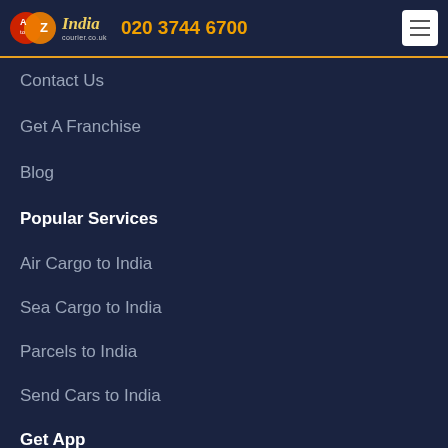AtoZ India courier.co.uk 020 3744 6700
Contact Us
Get A Franchise
Blog
Popular Services
Air Cargo to India
Sea Cargo to India
Parcels to India
Send Cars to India
Get App
[Figure (screenshot): Google Play Store download button with play icon triangle and 'Get it on Google Play' text]